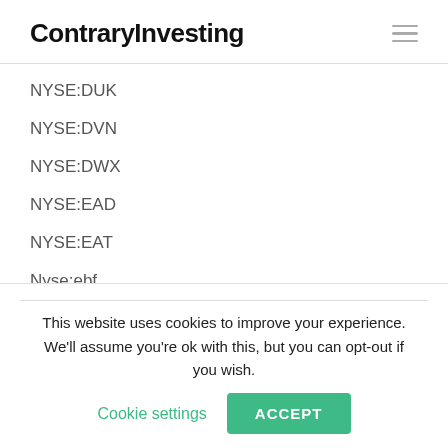ContraryInvesting
NYSE:DUK
NYSE:DVN
NYSE:DWX
NYSE:EAD
NYSE:EAT
Nyse:ebf
NYSE:ECC
NYSE:ECF
This website uses cookies to improve your experience. We'll assume you're ok with this, but you can opt-out if you wish.
Cookie settings
ACCEPT